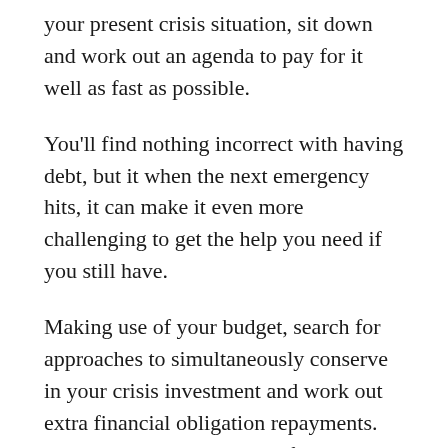your present crisis situation, sit down and work out an agenda to pay for it well as fast as possible.
You'll find nothing incorrect with having debt, but it when the next emergency hits, it can make it even more challenging to get the help you need if you still have.
Making use of your budget, search for approaches to simultaneously conserve in your crisis investment and work out extra financial obligation repayments. This is taxing, particularly if you're currently residing paycheck to paycheck. But whenever you can make it happen, you are going to spend less on interest and gain some reassurance.